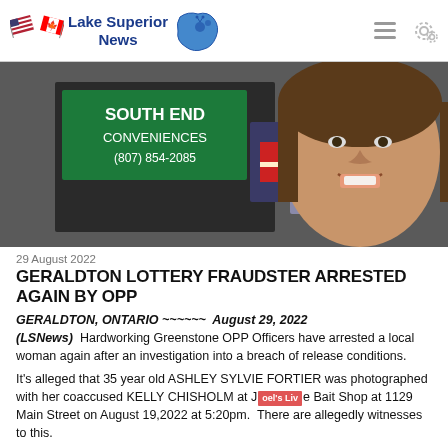Lake Superior News
[Figure (photo): Composite photo: left side shows a 'South End Conveniences (807) 854-2085' store sign with a police vehicle behind it; right side shows a smiling woman's face close-up.]
29 August 2022
GERALDTON LOTTERY FRAUDSTER ARRESTED AGAIN BY OPP
GERALDTON, ONTARIO ~~~~~~ August 29, 2022 (LSNews) Hardworking Greenstone OPP Officers have arrested a local woman again after an investigation into a breach of release conditions.
It's alleged that 35 year old ASHLEY SYLVIE FORTIER was photographed with her coaccused KELLY CHISHOLM at Joel's Live Bait Shop at 1129 Main Street on August 19,2022 at 5:20pm. There are allegedly witnesses to this.